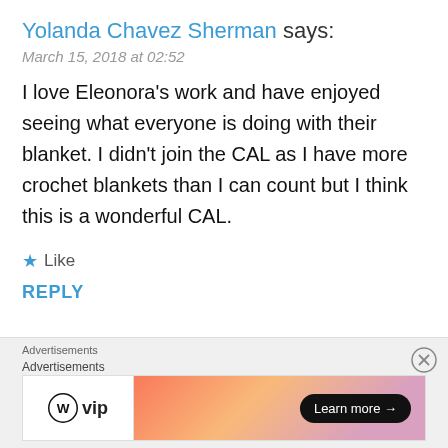Yolanda Chavez Sherman says:
March 15, 2018 at 02:52
I love Eleonora's work and have enjoyed seeing what everyone is doing with their blanket. I didn't join the CAL as I have more crochet blankets than I can count but I think this is a wonderful CAL.
★ Like
REPLY
Advertisements
Advertisements
[Figure (screenshot): WordPress VIP advertisement banner with Learn more button]